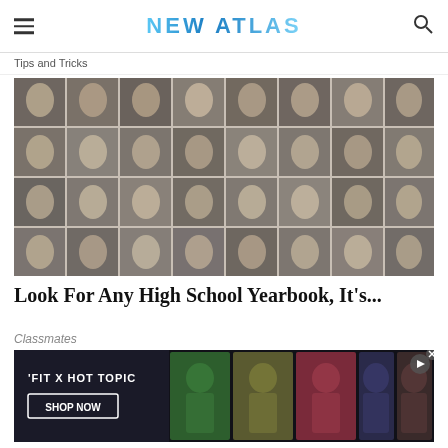NEW ATLAS
Tips and Tricks
[Figure (photo): Black and white high school yearbook photo grid showing rows of student portrait photos arranged in a grid pattern]
Look For Any High School Yearbook, It's...
Classmates
[Figure (photo): Advertisement banner: FIT X HOT TOPIC SHOP NOW with photos of young people in stylish clothing]